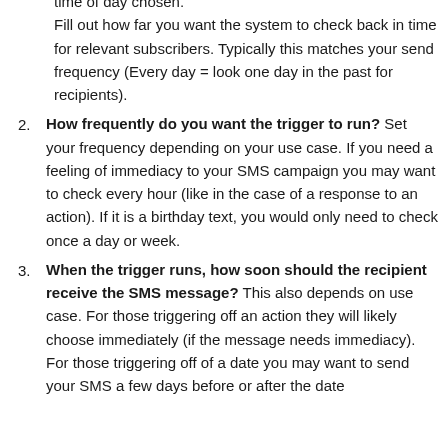Fill out how far you want the system to check back in time for relevant subscribers. Typically this matches your send frequency (Every day = look one day in the past for recipients).
How frequently do you want the trigger to run? Set your frequency depending on your use case. If you need a feeling of immediacy to your SMS campaign you may want to check every hour (like in the case of a response to an action). If it is a birthday text, you would only need to check once a day or week.
When the trigger runs, how soon should the recipient receive the SMS message? This also depends on use case. For those triggering off an action they will likely choose immediately (if the message needs immediacy). For those triggering off of a date you may want to send your SMS a few days before or after the date